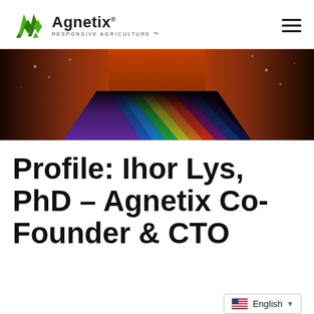[Figure (logo): Agnetix logo with green A-shaped icon and text 'Agnetix RESPONSIVE AGRICULTURE']
[Figure (photo): Wide panoramic photo showing a dark indoor space with colorful rainbow spectrum light projection on the floor and orange-lit rocky walls]
Profile: Ihor Lys, PhD – Agnetix Co-Founder & CTO